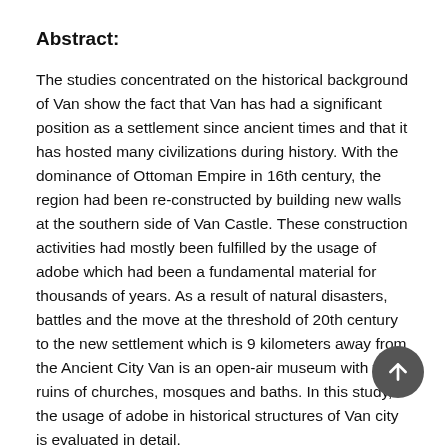Abstract:
The studies concentrated on the historical background of Van show the fact that Van has had a significant position as a settlement since ancient times and that it has hosted many civilizations during history. With the dominance of Ottoman Empire in 16th century, the region had been re-constructed by building new walls at the southern side of Van Castle. These construction activities had mostly been fulfilled by the usage of adobe which had been a fundamental material for thousands of years. As a result of natural disasters, battles and the move at the threshold of 20th century to the new settlement which is 9 kilometers away from the Ancient City Van is an open-air museum with the ruins of churches, mosques and baths. In this study, the usage of adobe in historical structures of Van city is evaluated in detail.